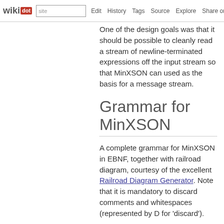wikidot | site | Edit | History | Tags | Source | Explore | Share on [Twitter]
One of the design goals was that it should be possible to cleanly read a stream of newline-terminated expressions off the input stream so that MinXSON can used as the basis for a message stream.
Grammar for MinXSON
A complete grammar for MinXSON in EBNF, together with railroad diagram, courtesy of the excellent Railroad Diagram Generator. Note that it is mandatory to discard comments and whitespaces (represented by D for 'discard').
EBNF